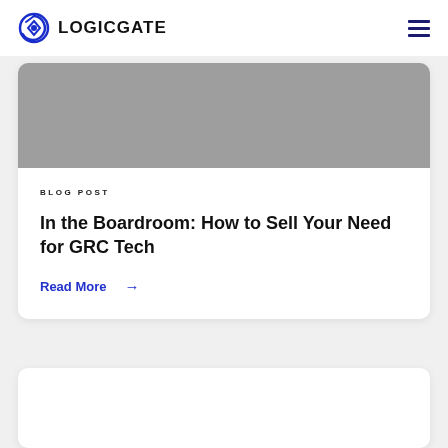LOGICGATE
[Figure (screenshot): Gray placeholder image area for blog post card]
BLOG POST
In the Boardroom: How to Sell Your Need for GRC Tech
Read More →